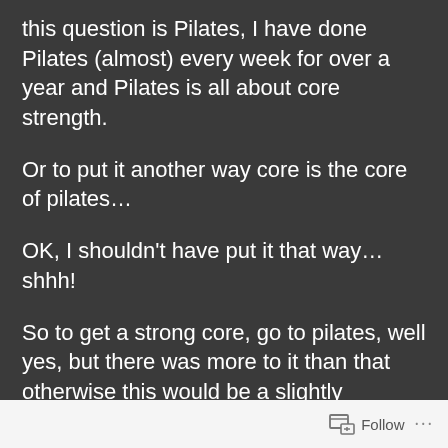this question is Pilates, I have done Pilates (almost) every week for over a year and Pilates is all about core strength.
Or to put it another way core is the core of pilates…
OK, I shouldn't have put it that way…shhh!
So to get a strong core, go to pilates, well yes, but there was more to it than that otherwise this would be a slightly pointless post as there are a lot of things out there that will tell you how good pilates is for your core!
Follow